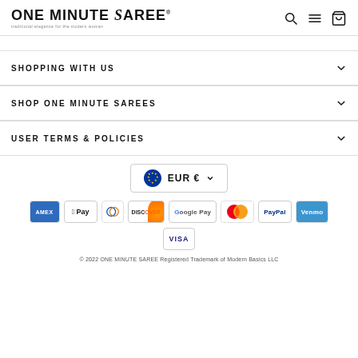ONE MINUTE SAREE — traditional elegance for the modern woman
SHOPPING WITH US
SHOP ONE MINUTE SAREES
USER TERMS & POLICIES
[Figure (other): EUR € currency selector dropdown button with EU flag icon]
[Figure (other): Payment method icons: American Express, Apple Pay, Diners Club, Discover, Google Pay, Mastercard, PayPal, Venmo, Visa]
© 2022 ONE MINUTE SAREE Registered Trademark of Modern Basics LLC